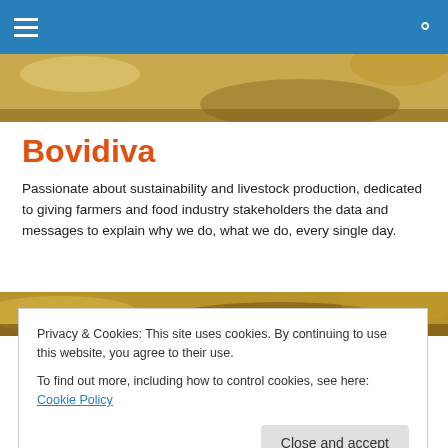Bovidiva navigation bar
[Figure (photo): Cow/livestock fur close-up image strip at top]
Bovidiva
Passionate about sustainability and livestock production, dedicated to giving farmers and food industry stakeholders the data and messages to explain why we do, what we do, every single day.
[Figure (photo): Cow/livestock fur close-up image strip at bottom]
TAGGED WITH CANCER
Activists tell me that I
Privacy & Cookies: This site uses cookies. By continuing to use this website, you agree to their use.
To find out more, including how to control cookies, see here: Cookie Policy
I like to think that my listeners is a great and ...